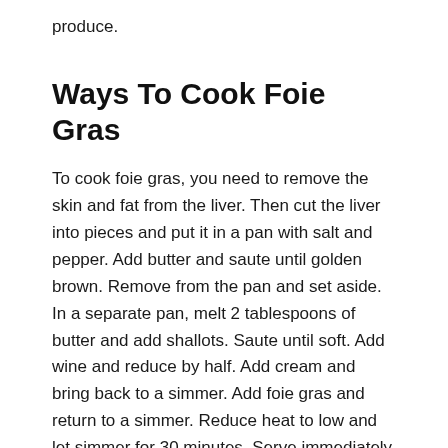produce.
Ways To Cook Foie Gras
To cook foie gras, you need to remove the skin and fat from the liver. Then cut the liver into pieces and put it in a pan with salt and pepper. Add butter and saute until golden brown. Remove from the pan and set aside. In a separate pan, melt 2 tablespoons of butter and add shallots. Saute until soft. Add wine and reduce by half. Add cream and bring back to a simmer. Add foie gras and return to a simmer. Reduce heat to low and let simmer for 30 minutes. Serve immediately.